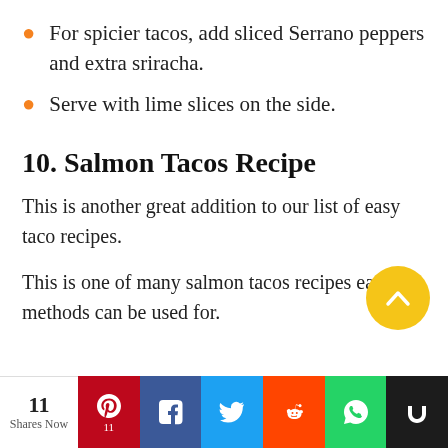For spicier tacos, add sliced Serrano peppers and extra sriracha.
Serve with lime slices on the side.
10. Salmon Tacos Recipe
This is another great addition to our list of easy taco recipes.
This is one of many salmon tacos recipes easy methods can be used for.
[Figure (other): Yellow circular scroll-to-top button with upward chevron arrow]
11 Shares Now | Pinterest 11 | Facebook | Twitter | Reddit | WhatsApp | Mix